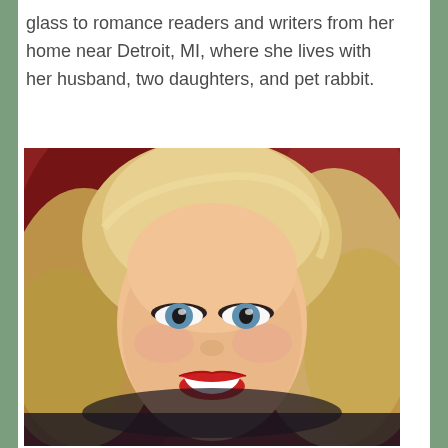glass to romance readers and writers from her home near Detroit, MI, where she lives with her husband, two daughters, and pet rabbit.
[Figure (photo): Portrait photo of a blonde woman with curly wavy hair, blue-green eyes, red lipstick, and a warm smile. She is photographed against a red/dark background.]